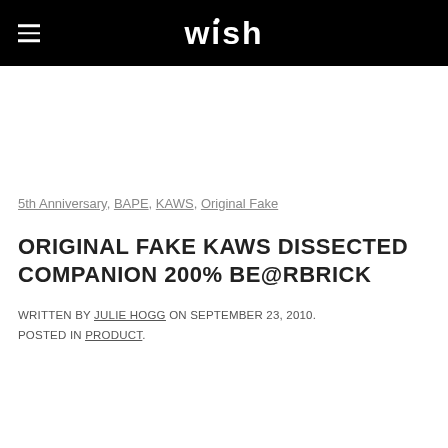wish
5th Anniversary, BAPE, KAWS, Original Fake
ORIGINAL FAKE KAWS DISSECTED COMPANION 200% BE@RBRICK
WRITTEN BY JULIE HOGG ON SEPTEMBER 23, 2010. POSTED IN PRODUCT.